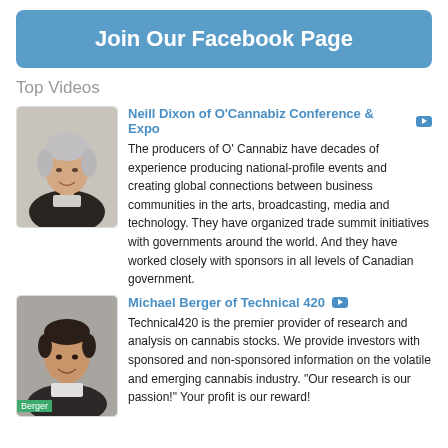Join Our Facebook Page
Top Videos
[Figure (photo): Headshot of Neill Dixon, older man with grey hair and dark jacket]
Neill Dixon of O'Cannabiz Conference & Expo
The producers of O' Cannabiz have decades of experience producing national-profile events and creating global connections between business communities in the arts, broadcasting, media and technology. They have organized trade summit initiatives with governments around the world. And they have worked closely with sponsors in all levels of Canadian government.
[Figure (photo): Headshot of Michael Berger, younger man with dark hair, label 'Berger' at bottom]
Michael Berger of Technical 420
Technical420 is the premier provider of research and analysis on cannabis stocks.  We provide investors with sponsored and non-sponsored information on the volatile and emerging cannabis industry.  "Our research is our passion!" Your profit is our reward!